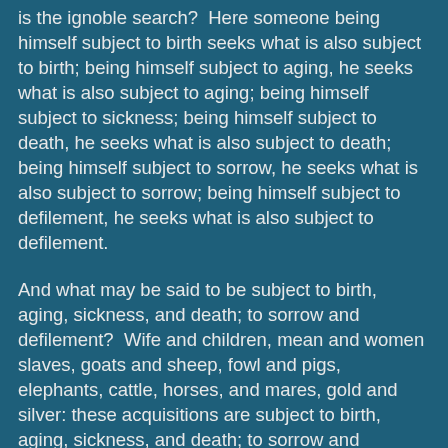is the ignoble search?  Here someone being himself subject to birth seeks what is also subject to birth; being himself subject to aging, he seeks what is also subject to aging; being himself subject to sickness; being himself subject to death, he seeks what is also subject to death; being himself subject to sorrow, he seeks what is also subject to sorrow; being himself subject to defilement, he seeks what is also subject to defilement.
And what may be said to be subject to birth, aging, sickness, and death; to sorrow and defilement?  Wife and children, mean and women slaves, goats and sheep, fowl and pigs, elephants, cattle, horses, and mares, gold and silver: these acquisitions are subject to birth, aging, sickness, and death; to sorrow and defilement; and one who is tied to these things, infatuated with them, and utterly absorbed in them, being himself subject to birth...to sorrow and defilement, seeks what is also subject to